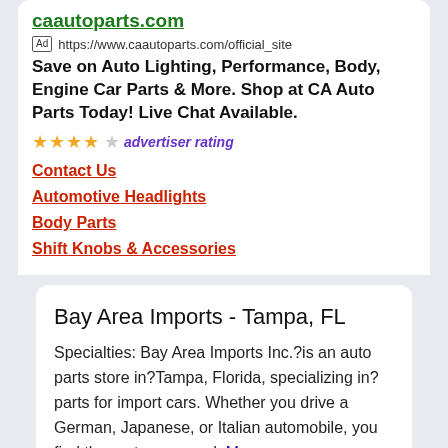caautoparts.com
Ad https://www.caautoparts.com/official_site
Save on Auto Lighting, Performance, Body, Engine Car Parts & More. Shop at CA Auto Parts Today! Live Chat Available.
★★★★☆ advertiser rating
Contact Us
Automotive Headlights
Body Parts
Shift Knobs & Accessories
Bay Area Imports - Tampa, FL
Specialties: Bay Area Imports Inc.?is an auto parts store in?Tampa, Florida, specializing in?parts for import cars. Whether you drive a German, Japanese, or Italian automobile, you find the parts you need. More
Bay Area Imports 502 E Waters